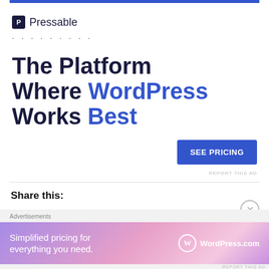[Figure (other): Blue horizontal bar at top of page, Pressable advertisement]
Pressable
. . . . . . . . .
The Platform Where WordPress Works Best
SEE PRICING
REPORT THIS AD
Share this:
[Figure (other): Twitter and Facebook share buttons]
[Figure (other): WordPress.com advertisement banner: Simplified pricing for everything you need.]
REPORT THIS AD